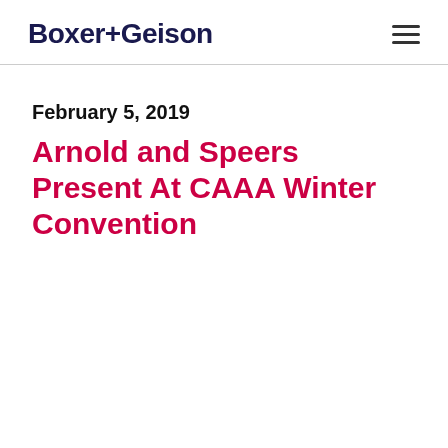Boxer+Geison
February 5, 2019
Arnold and Speers Present At CAAA Winter Convention